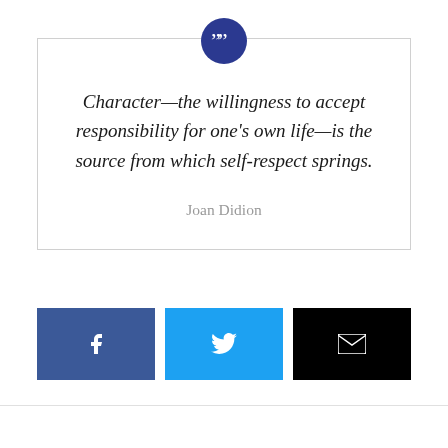Character—the willingness to accept responsibility for one's own life—is the source from which self-respect springs.
Joan Didion
[Figure (infographic): Social sharing buttons: Facebook (dark blue), Twitter (light blue), Email (black), each with white icon]